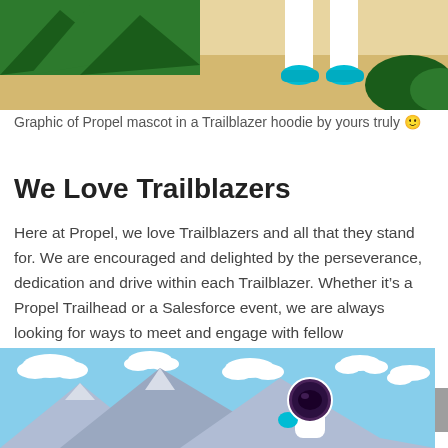[Figure (illustration): Top portion of an illustration showing the lower body of a character (Propel mascot) in a Trailblazer hoodie with white pants and teal shoes, standing on a sandy path with green trees/forest in the background.]
Graphic of Propel mascot in a Trailblazer hoodie by yours truly 🙂
We Love Trailblazers
Here at Propel, we love Trailblazers and all that they stand for. We are encouraged and delighted by the perseverance, dedication and drive within each Trailblazer. Whether it's a Propel Trailhead or a Salesforce event, we are always looking for ways to meet and engage with fellow Trailblazers.
[Figure (illustration): Bottom portion of an illustration showing a mountain landscape with blue sky, white clouds, grey mountains, and a character in white suit with teal glove and purple/dark helmet visible above the mountain peaks.]